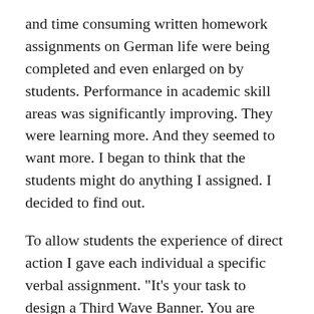and time consuming written homework assignments on German life were being completed and even enlarged on by students. Performance in academic skill areas was significantly improving. They were learning more. And they seemed to want more. I began to think that the students might do anything I assigned. I decided to find out.
To allow students the experience of direct action I gave each individual a specific verbal assignment. "It's your task to design a Third Wave Banner. You are responsible for stopping any student that is not a Third Wave member from entering this room. I want you to remember and be able to recite by tomorrow the name and address of every Third Wave Member. You are assigned the problem of training and convincing at least twenty children in the adjacent elementary